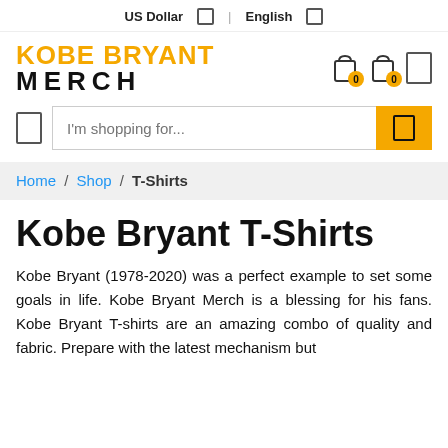US Dollar  |  English
[Figure (logo): Kobe Bryant Merch logo with yellow top text 'KOBE BRYANT' and black bottom text 'MERCH']
Home / Shop / T-Shirts
Kobe Bryant T-Shirts
Kobe Bryant (1978-2020) was a perfect example to set some goals in life. Kobe Bryant Merch is a blessing for his fans. Kobe Bryant T-shirts are an amazing combo of quality and fabric. Prepare with the latest mechanism but